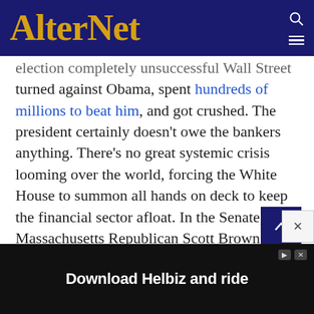AlterNet
election completely unsuccessful Wall Street turned against Obama, spent hundreds of millions to beat him, and got crushed. The president certainly doesn’t owe the bankers anything. There’s no great systemic crisis looming over the world, forcing the White House to summon all hands on deck to keep the financial sector afloat. In the Senate, Massachusetts Republican Scott Brown, a man who was instrumental in significantly weakening the Dodd-Frank bank reform act a
[Figure (screenshot): Advertisement banner: Download Helbiz and ride]